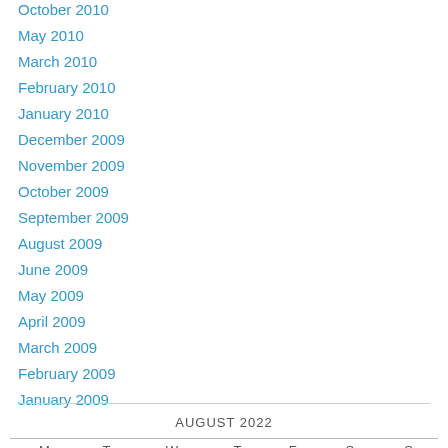October 2010
May 2010
March 2010
February 2010
January 2010
December 2009
November 2009
October 2009
September 2009
August 2009
June 2009
May 2009
April 2009
March 2009
February 2009
January 2009
AUGUST 2022
| M | T | W | T | F | S | S |
| --- | --- | --- | --- | --- | --- | --- |